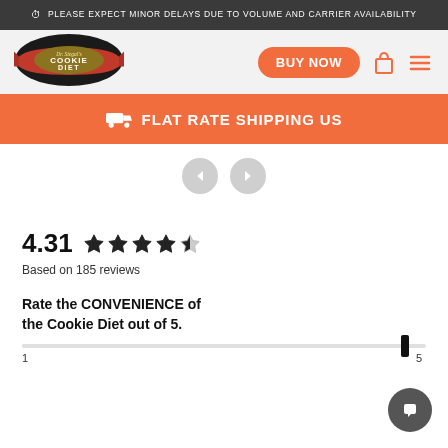PLEASE EXPECT MINOR DELAYS DUE TO VOLUME AND CARRIER AVAILABILITY
[Figure (logo): Dr. Siegal's Cookie Diet logo — circular badge with red ribbon]
BUY NOW
FLAT RATE SHIPPING US
4.31 ★★★★☆ Based on 185 reviews
Rate the CONVENIENCE of the Cookie Diet out of 5.